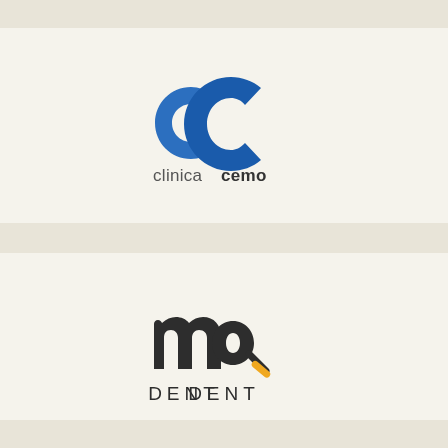[Figure (logo): Clínica Cemo logo: two blue C-shaped forms resembling a heart or dental shape, with text 'clinicacemo' below in gray/dark with 'cemo' in bold dark]
[Figure (logo): MQ Dent logo: stylized 'mq' letters in dark charcoal with an orange/yellow accent mark, and 'DENT' text in spaced capital letters below]